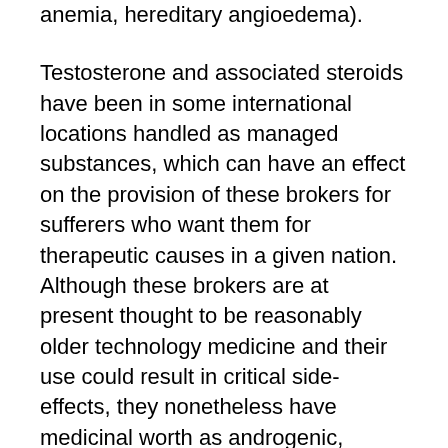anemia, hereditary angioedema).
Testosterone and associated steroids have been in some international locations handled as managed substances, which can have an effect on the provision of these brokers for sufferers who want them for therapeutic causes in a given nation. Although these brokers are at present thought to be reasonably older technology medicine and their use could result in critical side-effects, they nonetheless have medicinal worth as androgenic, anabolic, and even anti-androgenic brokers.
This evaluate summarizes and revisits the medicinal use of compounds based mostly on the construction and organic exercise of testosterone, with examples of particular compounds. Additionally, some of the newer androgenic-anabolic compounds are mentioned comparable to selective androgen receptor modulators, the efficacy/adverse-effect profiles of which haven't